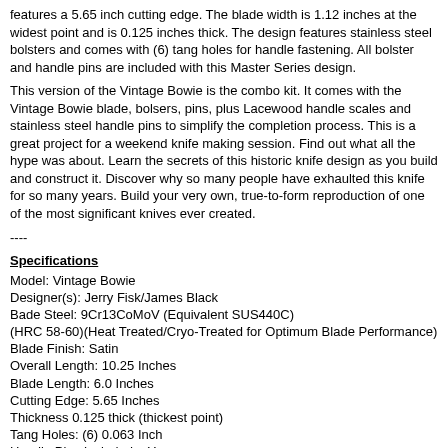features a 5.65 inch cutting edge. The blade width is 1.12 inches at the widest point and is 0.125 inches thick. The design features stainless steel bolsters and comes with (6) tang holes for handle fastening. All bolster and handle pins are included with this Master Series design.
This version of the Vintage Bowie is the combo kit. It comes with the Vintage Bowie blade, bolsers, pins, plus Lacewood handle scales and stainless steel handle pins to simplify the completion process. This is a great project for a weekend knife making session. Find out what all the hype was about. Learn the secrets of this historic knife design as you build and construct it. Discover why so many people have exhaulted this knife for so many years. Build your very own, true-to-form reproduction of one of the most significant knives ever created.
----
Specifications
Model: Vintage Bowie
Designer(s): Jerry Fisk/James Black
Bade Steel: 9Cr13CoMoV (Equivalent SUS440C)
(HRC 58-60)(Heat Treated/Cryo-Treated for Optimum Blade Performance)
Blade Finish: Satin
Overall Length: 10.25 Inches
Blade Length: 6.0 Inches
Cutting Edge: 5.65 Inches
Thickness 0.125 thick (thickest point)
Tang Holes: (6) 0.063 Inch
Handle Pins Included = Yes
Weight: 4.3 oz / 122 gm
Bolsters/Pins Included = Yes
Handle Material Included = Lacewood (2)(5.0 x 1.5 x .25) Inches
Gift Boxed = Yes